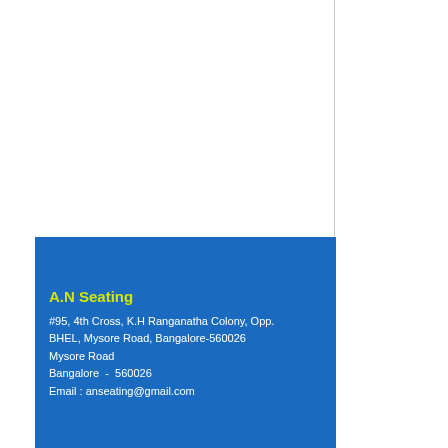[Figure (other): Blue business card/advertisement for A.N Seating showing company name in yellow-green and address in white text on a blue background.]
A.N Seating
#95, 4th Cross, K.H Ranganatha Colony, Opp. BHEL, Mysore Road, Bangalore-560026
Mysore Road
Bangalore - 560026
Email : anseating@gmail.com